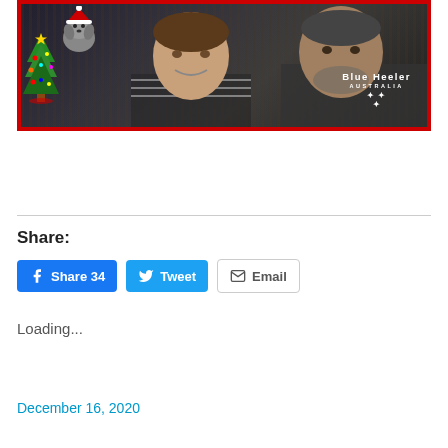[Figure (photo): Christmas photo of two people (a woman and a man) with a dog wearing a Santa hat in the corner and a Christmas tree graphic overlay. Red border frame. 'Blue Heeler Australia' watermark with stars in lower right.]
Share:
Share 34 | Tweet | Email
Loading...
December 16, 2020